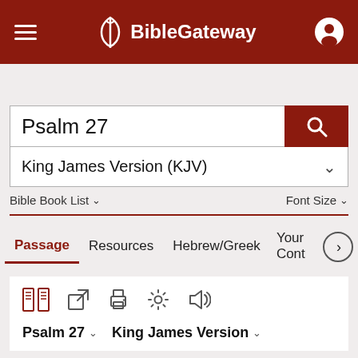BibleGateway
Psalm 27
King James Version (KJV)
Bible Book List   Font Size
Passage   Resources   Hebrew/Greek   Your Cont
Psalm 27   King James Version